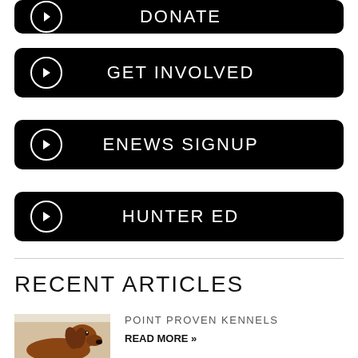DONATE
GET INVOLVED
ENEWS SIGNUP
HUNTER ED
RECENT ARTICLES
POINT PROVEN KENNELS
READ MORE »
[Figure (photo): Brown spaniel dog looking upward, brown coat, photographed against light background]